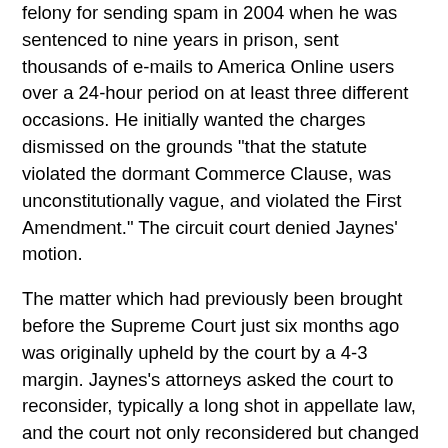felony for sending spam in 2004 when he was sentenced to nine years in prison, sent thousands of e-mails to America Online users over a 24-hour period on at least three different occasions. He initially wanted the charges dismissed on the grounds "that the statute violated the dormant Commerce Clause, was unconstitutionally vague, and violated the First Amendment." The circuit court denied Jaynes' motion.
The matter which had previously been brought before the Supreme Court just six months ago was originally upheld by the court by a 4-3 margin. Jaynes's attorneys asked the court to reconsider, typically a long shot in appellate law, and the court not only reconsidered but changed its mind.
John Levine, president of the Coalition Against Unsolicited Commercial Email (CAUCE), said the court overturned the law because it sought to outlaw all forms of unsolicited e-mail, not just commercial junk mail. In contrast, he said, the federal CAN-SPAM Act limits the restriction to messages used to promote a business or other financial gain.
"Everyone agreed Jaynes was incredibly guilty, but the issue was the peculiarity of the Virginia law in that it could be read...